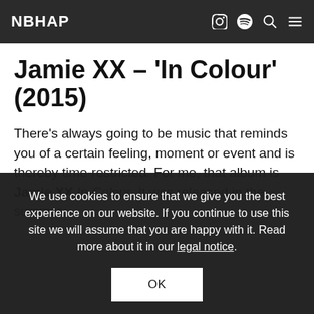NBHAP
Jamie XX – ‘In Colour’ (2015)
There’s always going to be music that reminds you of a certain feeling, moment or event and is thereby time-restricted. For me, that album is Jamie XX In Colour. It was released in the summer
We use cookies to ensure that we give you the best experience on our website. If you continue to use this site we will assume that you are happy with it. Read more about it in our legal notice.
OK